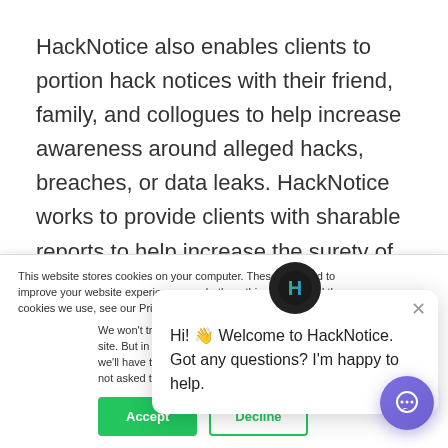HackNotice also enables clients to portion hack notices with their friend, family, and collogues to help increase awareness around alleged hacks, breaches, or data leaks. HackNotice works to provide clients with sharable reports to help increase the surety of our clients personal network. The security of the people that our clients interact with directly impacts
This website stores cookies on your computer. These are used to improve your website experience you, both on this website and through cookies we use, see our Privacy P
We won't track your site. But in order to we'll have to use jus not asked to make this choice again.
Hi! 👋 Welcome to HackNotice. Got any questions? I'm happy to help.
[Figure (logo): HackNotice chat widget logo - dark circle with green and blue H letter mark]
[Figure (illustration): Purple chat bubble button in bottom right corner]